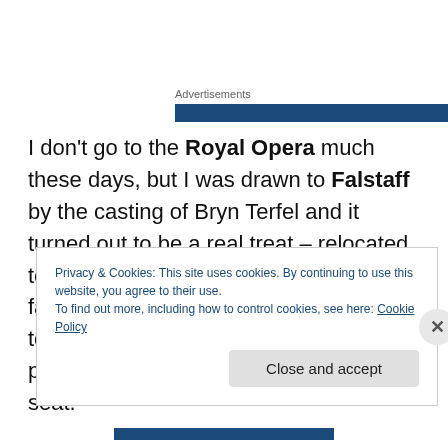Advertisements
I don't go to the Royal Opera much these days, but I was drawn to Falstaff by the casting of Bryn Terfel and it turned out to be a real treat – relocated to the 50's, brilliantly designed, with a faultless cast, though with their obscene top price of almost £200 I was only prepared to pay for a restricted view seat.
Privacy & Cookies: This site uses cookies. By continuing to use this website, you agree to their use.
To find out more, including how to control cookies, see here: Cookie Policy